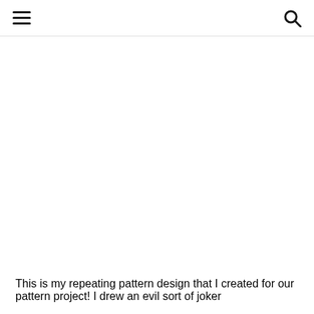[hamburger menu icon] [search icon]
[Figure (other): Large white blank image area below the navigation header]
This is my repeating pattern design that I created for our pattern project! I drew an evil sort of joker